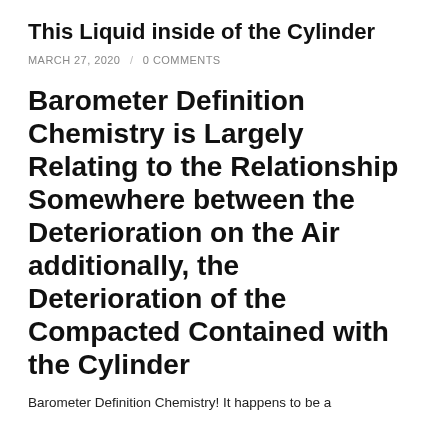This Liquid inside of the Cylinder
MARCH 27, 2020 / 0 COMMENTS
Barometer Definition Chemistry is Largely Relating to the Relationship Somewhere between the Deterioration on the Air additionally, the Deterioration of the Compacted Contained with the Cylinder
Barometer Definition Chemistry! It happens to be a